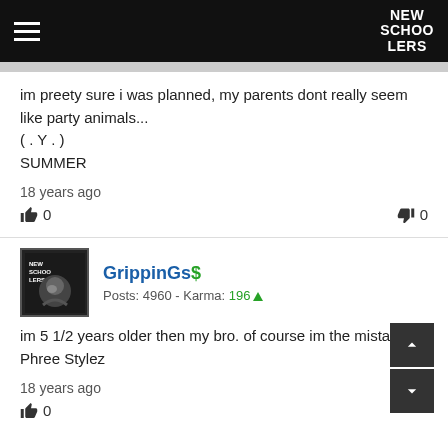NEW SCHOOLERS
im preety sure i was planned, my parents dont really seem like party animals...
( . Y . )
SUMMER
18 years ago
0  0
GrippinGs $ Posts: 4960 - Karma: 196
im 5 1/2 years older then my bro. of course im the mistake.
Phree Stylez
18 years ago
0